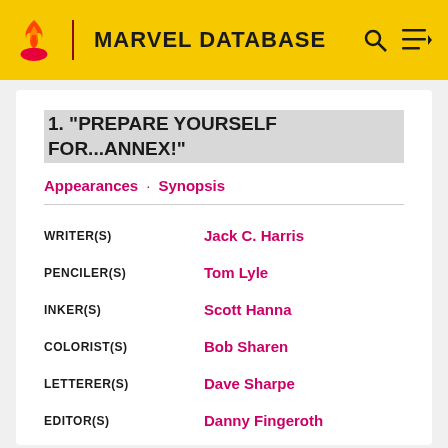MARVEL DATABASE
1. "PREPARE YOURSELF FOR...ANNEX!"
Appearances · Synopsis
| Role | Name |
| --- | --- |
| WRITER(S) | Jack C. Harris |
| PENCILER(S) | Tom Lyle |
| INKER(S) | Scott Hanna |
| COLORIST(S) | Bob Sharen |
| LETTERER(S) | Dave Sharpe |
| EDITOR(S) | Danny Fingeroth |